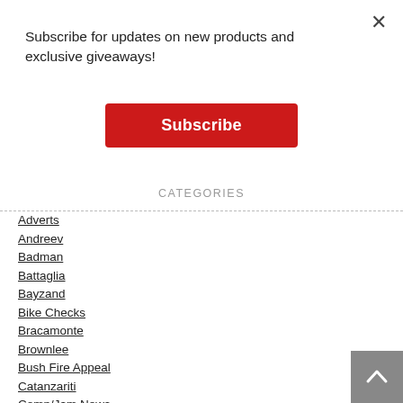Subscribe for updates on new products and exclusive giveaways!
Subscribe
CATEGORIES
Adverts
Andreev
Badman
Battaglia
Bayzand
Bike Checks
Bracamonte
Brownlee
Bush Fire Appeal
Catanzariti
Comp/Jam News
Courtenay
Dealer News
Distribution News
DVD